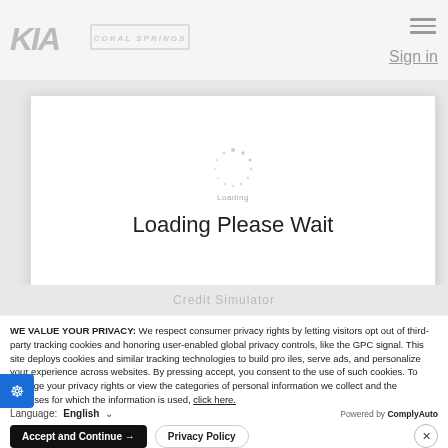[Figure (logo): KIA logo in gray italic bold text]
[Figure (logo): Coral Springs dealership logo text in gray, italic, outlined]
Sign in
[Figure (screenshot): Loading modal with spinner animation and text 'Loading' and 'Loading Please Wait']
WE VALUE YOUR PRIVACY: We respect consumer privacy rights by letting visitors opt out of third-party tracking cookies and honoring user-enabled global privacy controls, like the GPC signal. This site deploys cookies and similar tracking technologies to build profiles, serve ads, and personalize your experience across websites. By pressing accept, you consent to the use of such cookies. To manage your privacy rights or view the categories of personal information we collect and the purposes for which the information is used, click here.
Language: English
Powered by ComplyAuto
Accept and Continue →
Privacy Policy